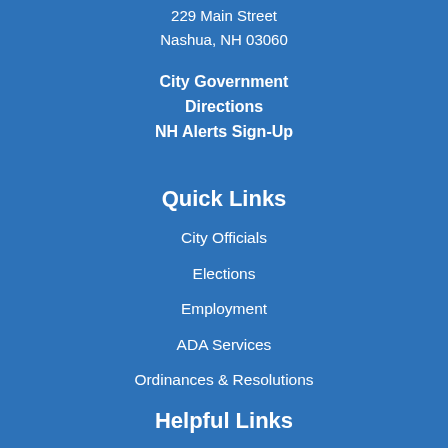229 Main Street
Nashua, NH 03060
City Government
Directions
NH Alerts Sign-Up
Quick Links
City Officials
Elections
Employment
ADA Services
Ordinances & Resolutions
Helpful Links